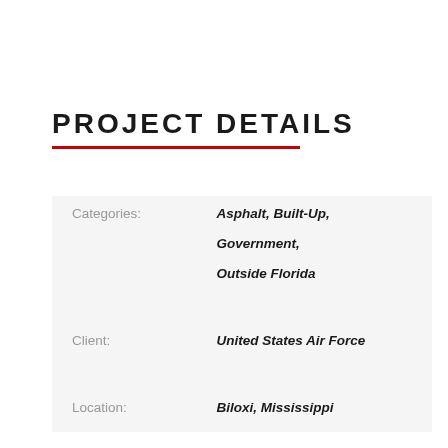PROJECT DETAILS
| Field | Value |
| --- | --- |
| Categories: | Asphalt, Built-Up, Government, Outside Florida |
| Client: | United States Air Force |
| Location: | Biloxi, Mississippi |
| Surface Area: | 56,000 SF |